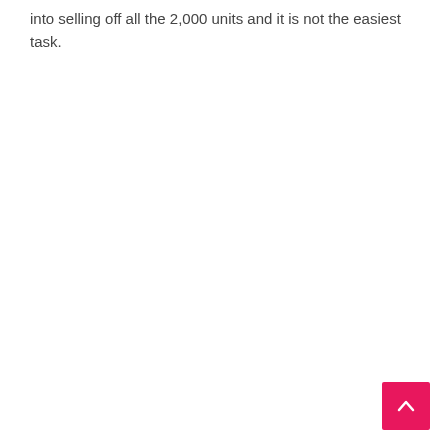into selling off all the 2,000 units and it is not the easiest task.
[Figure (other): Back to top button — hot pink/red square button with a white upward-pointing chevron arrow, positioned at bottom-right corner of the page.]